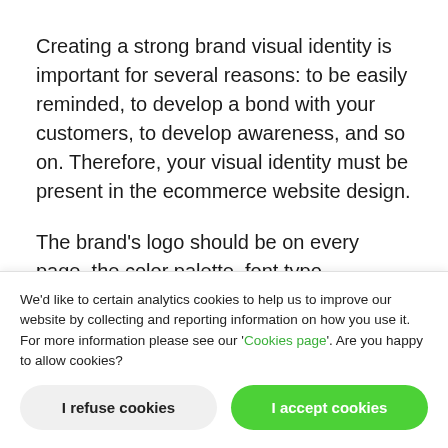Creating a strong brand visual identity is important for several reasons: to be easily reminded, to develop a bond with your customers, to develop awareness, and so on. Therefore, your visual identity must be present in the ecommerce website design.
The brand's logo should be on every page, the color palette, font typo, illustrations, videos, and other visual elements also need to be thought out to build a cohesive image. When people visit your
We'd like to certain analytics cookies to help us to improve our website by collecting and reporting information on how you use it. For more information please see our 'Cookies page'. Are you happy to allow cookies?